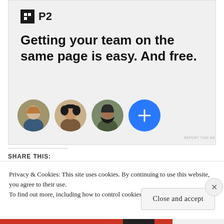[Figure (infographic): P2 advertisement banner with logo, headline 'Getting your team on the same page is easy. And free.', and three circular profile photos plus a blue plus button]
REPORT THIS AD
SHARE THIS:
[Figure (infographic): Social share icons row (partially visible)]
Privacy & Cookies: This site uses cookies. By continuing to use this website, you agree to their use.
To find out more, including how to control cookies, see here: Cookie Policy
Close and accept